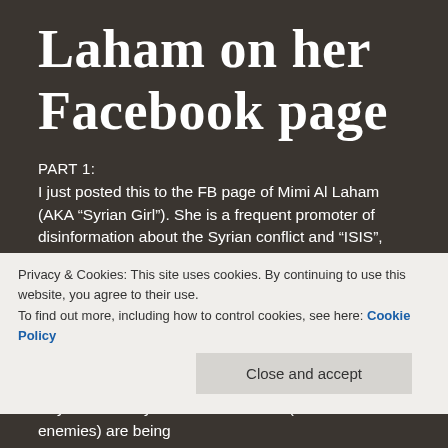Laham on her Facebook page
PART 1:
I just posted this to the FB page of Mimi Al Laham (AKA “Syrian Girl”). She is a frequent promoter of disinformation about the Syrian conflict and “ISIS”, posting to YouTube and being interviewed by the likes of Alex Jones and RT. She is a promoter of the bullshit conspiracy theories claiming that “ISIS” was created by the USA and Israel and Saudi Arabia and Turkey and Qatar and NATO. Now that we see in the US military
Privacy & Cookies: This site uses cookies. By continuing to use this website, you agree to their use.
To find out more, including how to control cookies, see here: Cookie Policy
Anyone who says “ISIS” or Al Nusra (who are enemies) are being